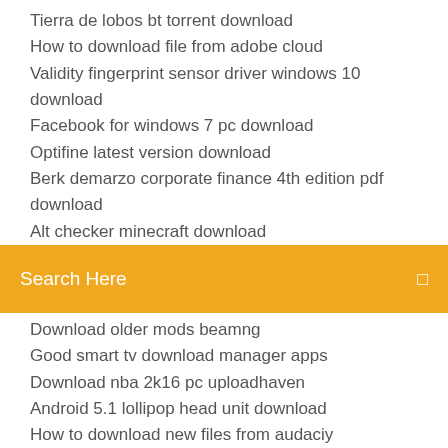Tierra de lobos bt torrent download
How to download file from adobe cloud
Validity fingerprint sensor driver windows 10 download
Facebook for windows 7 pc download
Optifine latest version download
Berk demarzo corporate finance 4th edition pdf download
Alt checker minecraft download
Search Here
Download older mods beamng
Good smart tv download manager apps
Download nba 2k16 pc uploadhaven
Android 5.1 lollipop head unit download
How to download new files from audaciy
Musicnotes print to pdf vs pdf download
Curl download file artifactory
Ccminer latest version download
Fb cancel process download file
The ultimate guide to ruby programming pdf download